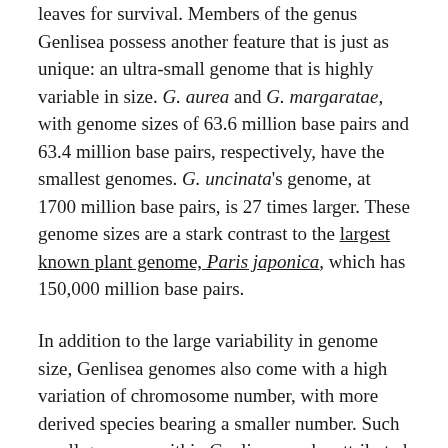leaves for survival. Members of the genus Genlisea possess another feature that is just as unique: an ultra-small genome that is highly variable in size. G. aurea and G. margaratae, with genome sizes of 63.6 million base pairs and 63.4 million base pairs, respectively, have the smallest genomes. G. uncinata's genome, at 1700 million base pairs, is 27 times larger. These genome sizes are a stark contrast to the largest known plant genome, Paris japonica, which has 150,000 million base pairs.
In addition to the large variability in genome size, Genlisea genomes also come with a high variation of chromosome number, with more derived species bearing a smaller number. Such small genomes within Genlisea can be attributed to genome contraction during its evolution through gene loss, and reduction of